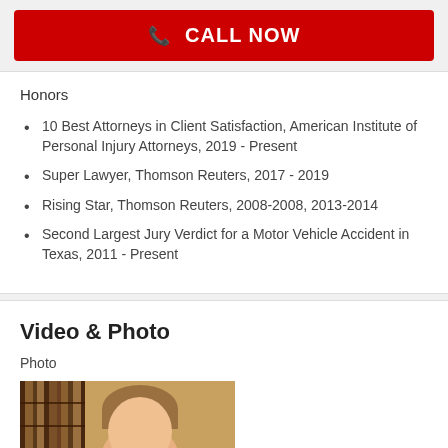CALL NOW
Honors
10 Best Attorneys in Client Satisfaction, American Institute of Personal Injury Attorneys, 2019 - Present
Super Lawyer, Thomson Reuters, 2017 - 2019
Rising Star, Thomson Reuters, 2008-2008, 2013-2014
Second Largest Jury Verdict for a Motor Vehicle Accident in Texas, 2011 - Present
Video & Photo
Photo
[Figure (photo): Portrait photo of an attorney in front of law books on wooden shelves]